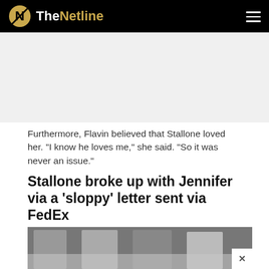TheNetline
Furthermore, Flavin believed that Stallone loved her. “I know he loves me,” she said. “So it was never an issue.”
Stallone broke up with Jennifer via a ‘sloppy’ letter sent via FedEx
[Figure (photo): Black and white group photo showing Stallone and Jennifer Flavin with others at an event]